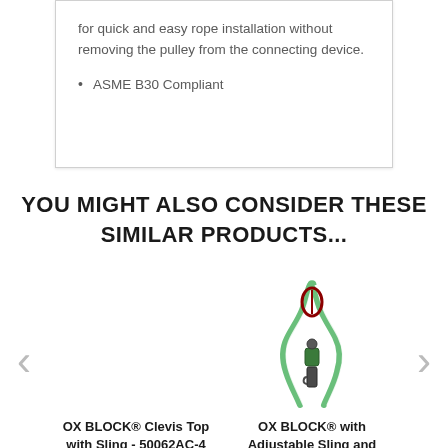for quick and easy rope installation without removing the pulley from the connecting device.
ASME B30 Compliant
YOU MIGHT ALSO CONSIDER THESE SIMILAR PRODUCTS...
[Figure (photo): Green and white rope sling with carabiner/swivel hardware - OX BLOCK product]
OX BLOCK® Clevis Top with Sling - 50062AC-4
OX BLOCK® with Adjustable Sling and